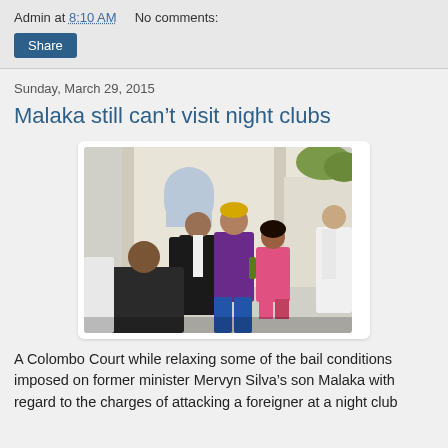Admin at 8:10 AM   No comments:
Share
Sunday, March 29, 2015
Malaka still can't visit night clubs
[Figure (photo): Group of people outside a building, including a man in a black suit with red tie, a man in a purple shirt with blonde highlights, a woman in a pink dress, and others in white suits.]
A Colombo Court while relaxing some of the bail conditions imposed on former minister Mervyn Silva's son Malaka with regard to the charges of attacking a foreigner at a night club